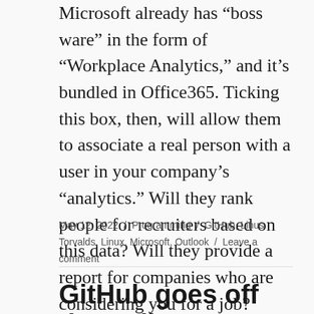Microsoft already has “boss ware” in the form of “Workplace Analytics,” and it’s bundled in Office365. Ticking this box, then, will allow them to associate a real person with a user in your company’s “analytics.” Will they rank people for recruiters based on this data? Will they provide a report for companies who are considering you for a job? Sounds like a perfectly valid, dystopian business opportunity to me. Right up their alley. I wouldn’t put it past them.
May 12, 2022 / Programming / GitHub, Linus Torvalds, Linux, Microsoft, Outlook / Leave a comment
GitHub goes off the Rails